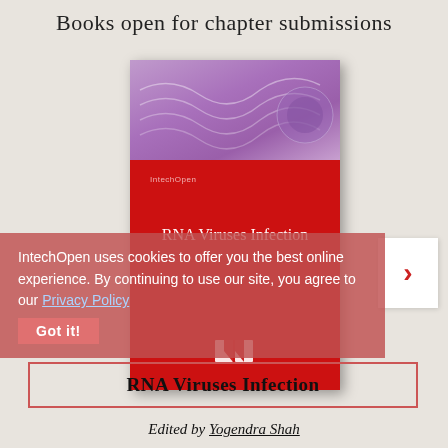Books open for chapter submissions
[Figure (illustration): Book cover for 'RNA Viruses Infection' published by IntechOpen. The cover has a purple/lavender abstract top section and a red bottom section with the book title in white text and the IntechOpen logo at the bottom.]
IntechOpen uses cookies to offer you the best online experience. By continuing to use our site, you agree to our Privacy Policy
RNA Viruses Infection
Edited by Yogendra Shah